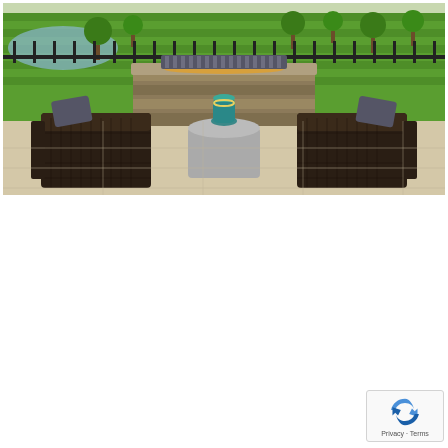[Figure (photo): Outdoor patio scene with two dark wicker lounge chairs on either side of a cylindrical concrete side table with a teal vase on top. Behind them is a long rectangular stone fire pit with a bench/sofa behind it. The background shows a lush green lawn, black metal fence, trees, and a pond or water feature in the distance. The patio surface is light concrete/stone.]
[Figure (logo): Google reCAPTCHA badge with the reCAPTCHA logo (blue/dark blue spinning arrows icon) and text 'Privacy - Terms' at the bottom.]